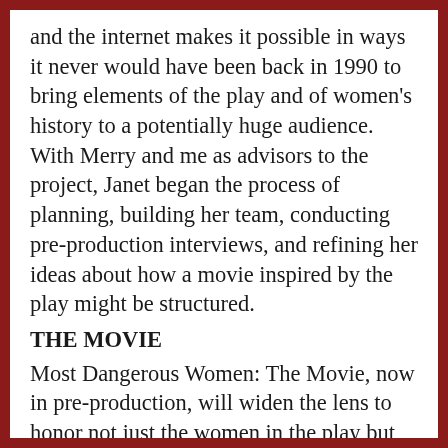and the internet makes it possible in ways it never would have been back in 1990 to bring elements of the play and of women's history to a potentially huge audience. With Merry and me as advisors to the project, Janet began the process of planning, building her team, conducting pre-production interviews, and refining her ideas about how a movie inspired by the play might be structured.
THE MOVIE
Most Dangerous Women: The Movie, now in pre-production, will widen the lens to honor not just the women in the play but also other dangerous women in our past, and even more in our present and future. It will put today's young activists front and center, fostering their awareness not only of their foremothers